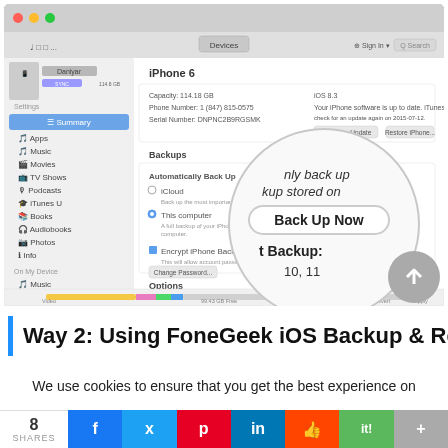[Figure (screenshot): iTunes window showing iPhone 6 connected, with Backups section visible and a magnification circle highlighting 'Back Up Now' button and 'Last Backup:' text showing date 10, 11]
Way 2: Using FoneGeek iOS Backup & Res…
We use cookies to ensure that you get the best experience on
8 SHARES  [Facebook] [Twitter] [Pinterest] [LinkedIn] [Reddit] [it!] [+]